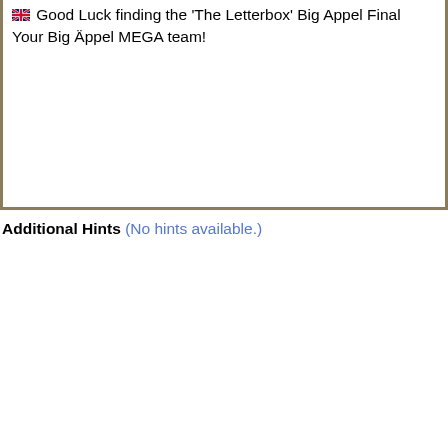Good Luck finding the 'The Letterbox' Big Appel Final Your Big Äppel MEGA team!
Additional Hints (No hints available.)